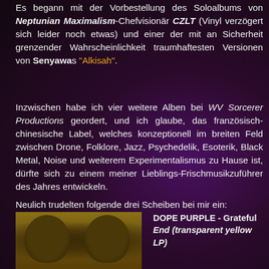Es begann mit der Vorbestellung des Soloalbums von Neptunian Maximalism-Chefvisionär CZLT (Vinyl verzögert sich leider noch etwas) und einer der mit an Sicherheit grenzender Wahrscheinlichkeit traumhaftesten Versionen von Senyawas "Alkisah".
Inzwischen habe ich vier weitere Alben bei WV Sorcerer Productions geordert, und ich glaube, das französisch-chinesische Label, welches konzeptionell im breiten Feld zwischen Drone, Folklore, Jazz, Psychedelik, Esoterik, Black Metal, Noise und weiterem Experimentalismus zu Hause ist, dürfte sich zu einem meiner Lieblings-Frischmusikzuführer des Jahres entwickeln.
Neulich trudelten folgende drei Scheiben bei mir ein:
[Figure (photo): Album cover showing two face silhouettes on a golden/yellow-brown background]
DOPE PURPLE - Grateful End (transparent yellow LP)